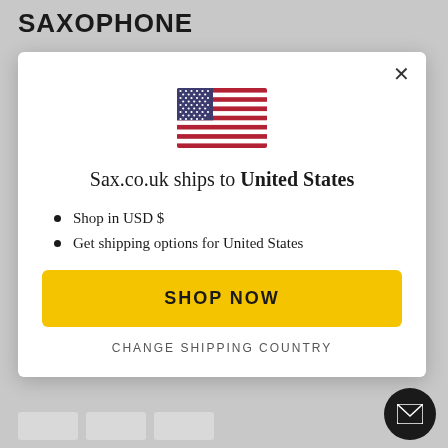SAXOPHONE
[Figure (illustration): US flag SVG illustration centered in modal dialog]
Sax.co.uk ships to United States
Shop in USD $
Get shipping options for United States
SHOP NOW
CHANGE SHIPPING COUNTRY